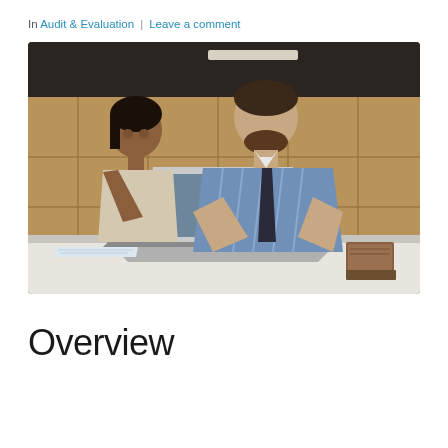In Audit & Evaluation | Leave a comment
[Figure (photo): Two business professionals — a woman standing and leaning over, and a man seated — both looking at a laptop screen on a table in an office/warehouse setting.]
Overview